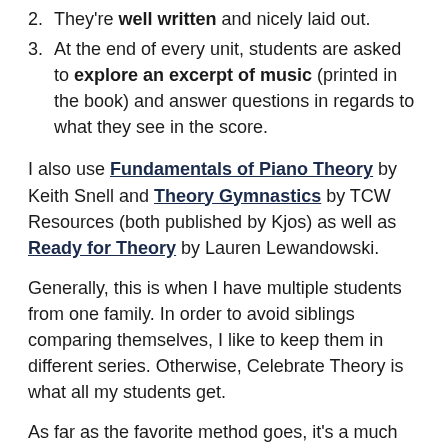are colorful.
They're well written and nicely laid out.
At the end of every unit, students are asked to explore an excerpt of music (printed in the book) and answer questions in regards to what they see in the score.
I also use Fundamentals of Piano Theory by Keith Snell and Theory Gymnastics by TCW Resources (both published by Kjos) as well as Ready for Theory by Lauren Lewandowski.
Generally, this is when I have multiple students from one family. In order to avoid siblings comparing themselves, I like to keep them in different series. Otherwise, Celebrate Theory is what all my students get.
As far as the favorite method goes, it's a much more involved answer as I have used it a lot over the years!